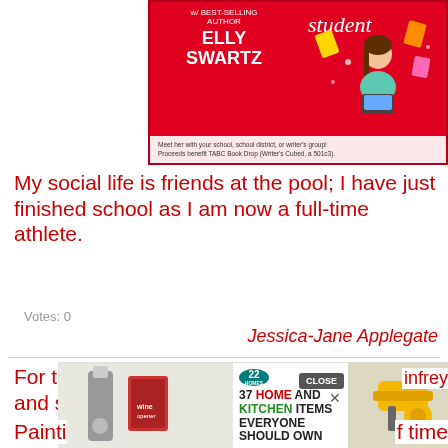[Figure (illustration): Advertisement banner for author Elly Swartz with red background, showing 'w/ BEST-SELLING AUTHOR ELLY SWARTZ', 'Meet her with your school, school district, or writer's group! Proceeds benefit TABC Book Drop (Writer's Cubed, a 501c3).' with an illustration of a student on the right side.]
My social life is friends at the pool; I have just finished school as I am now a full-time athlete.
Votes: 0
Jessica-Jane Applegate
For the first time, I wasn't afraid to be smart, and she often stayed after school to work with me.
[Figure (screenshot): Overlay advertisement showing '37 HOME AND KITCHEN ITEMS EVERYONE SHOULD OWN' with a '22' badge and product images, with a CLOSE button.]
infrey
Painti
f time